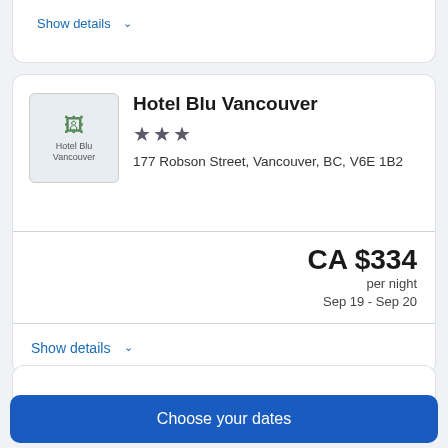Show details ∨
Hotel Blu Vancouver
★★★
177 Robson Street, Vancouver, BC, V6E 1B2
CA $334 per night Sep 19 - Sep 20
Show details ∨
Choose your dates